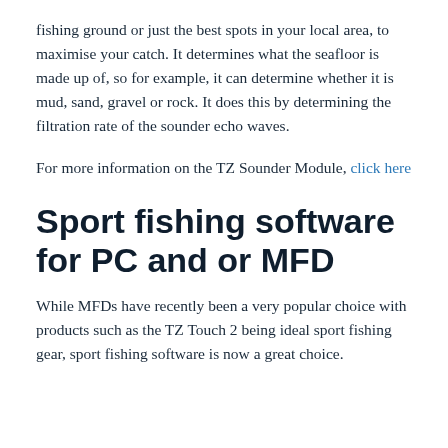fishing ground or just the best spots in your local area, to maximise your catch. It determines what the seafloor is made up of, so for example, it can determine whether it is mud, sand, gravel or rock. It does this by determining the filtration rate of the sounder echo waves.
For more information on the TZ Sounder Module, click here
Sport fishing software for PC and or MFD
While MFDs have recently been a very popular choice with products such as the TZ Touch 2 being ideal sport fishing gear, sport fishing software is now a great choice.